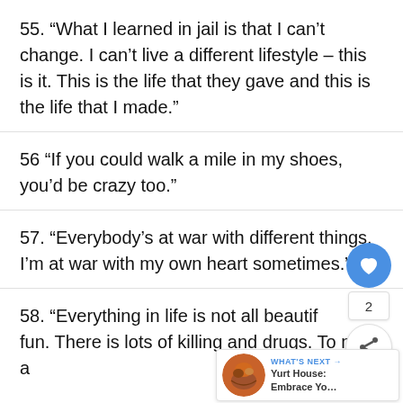55. “What I learned in jail is that I can’t change. I can’t live a different lifestyle – this is it. This is the life that they gave and this is the life that I made.”
56 “If you could walk a mile in my shoes, you’d be crazy too.”
57. “Everybody’s at war with different things. I’m at war with my own heart sometimes.”
58. “Everything in life is not all beautiful and fun. There is lots of killing and drugs. To me, a